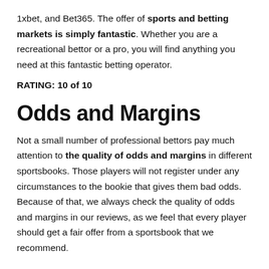1xbet, and Bet365. The offer of sports and betting markets is simply fantastic. Whether you are a recreational bettor or a pro, you will find anything you need at this fantastic betting operator.
RATING: 10 of 10
Odds and Margins
Not a small number of professional bettors pay much attention to the quality of odds and margins in different sportsbooks. Those players will not register under any circumstances to the bookie that gives them bad odds. Because of that, we always check the quality of odds and margins in our reviews, as we feel that every player should get a fair offer from a sportsbook that we recommend.